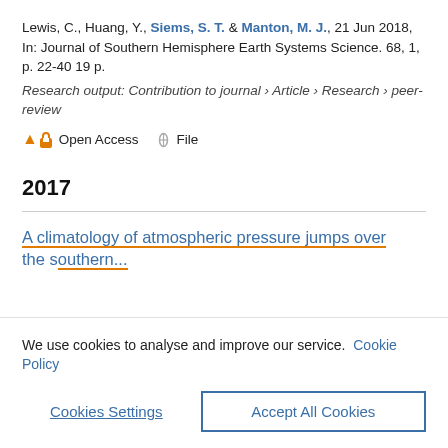Lewis, C., Huang, Y., Siems, S. T. & Manton, M. J., 21 Jun 2018, In: Journal of Southern Hemisphere Earth Systems Science. 68, 1, p. 22-40 19 p.
Research output: Contribution to journal › Article › Research › peer-review
Open Access   File
2017
A climatology of atmospheric pressure jumps over the southern...
We use cookies to analyse and improve our service. Cookie Policy
Cookies Settings    Accept All Cookies